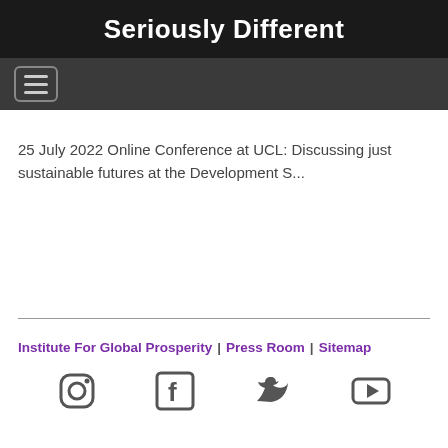Seriously Different
[Figure (other): Hamburger menu icon button with three horizontal lines inside a rounded rectangle border on a dark grey navigation bar]
25 July 2022 Online Conference at UCL: Discussing just sustainable futures at the Development S...
Institute For Global Prosperity | Press Room | Sitemap
[Figure (other): Social media icons row: Instagram, Facebook, Twitter, YouTube]